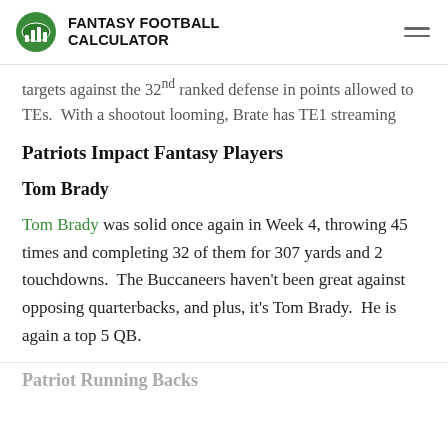FANTASY FOOTBALL CALCULATOR
targets against the 32 ranked defense in points allowed to TEs. With a shootout looming, Brate has TE1 streaming appeal in this game.
Patriots Impact Fantasy Players
Tom Brady
Tom Brady was solid once again in Week 4, throwing 45 times and completing 32 of them for 307 yards and 2 touchdowns. The Buccaneers haven't been great against opposing quarterbacks, and plus, it's Tom Brady. He is again a top 5 QB.
Patriot Running Backs